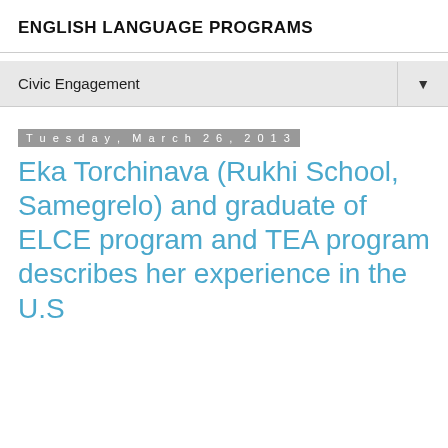ENGLISH LANGUAGE PROGRAMS
Civic Engagement
Tuesday, March 26, 2013
Eka Torchinava (Rukhi School, Samegrelo) and graduate of ELCE program and TEA program describes her experience in the U.S